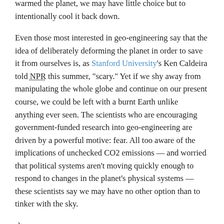warmed the planet, we may have little choice but to intentionally cool it back down.
Even those most interested in geo-engineering say that the idea of deliberately deforming the planet in order to save it from ourselves is, as Stanford University's Ken Caldeira told NPR this summer, "scary." Yet if we shy away from manipulating the whole globe and continue on our present course, we could be left with a burnt Earth unlike anything ever seen. The scientists who are encouraging government-funded research into geo-engineering are driven by a powerful motive: fear. All too aware of the implications of unchecked CO2 emissions — and worried that political systems aren't moving quickly enough to respond to changes in the planet's physical systems — these scientists say we may have no other option than to tinker with the sky.
:}
As the atmospheric pressure mounts so will the clamor to